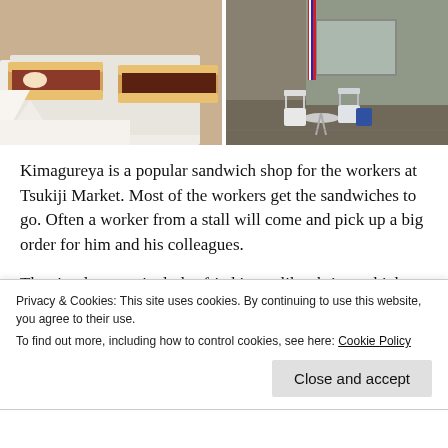[Figure (photo): Two sandwiches wrapped in white paper on the left photo, and an outdoor cafe seating area with white chairs and a round table in front of a shop on the right photo.]
Kimagureya is a popular sandwich shop for the workers at Tsukiji Market. Most of the workers get the sandwiches to go. Often a worker from a stall will come and pick up a big order for him and his colleagues.
The simple menu includes fried items like shrimp, chicken or croquettes, and more standard sandwich fillings like tuna
Privacy & Cookies: This site uses cookies. By continuing to use this website, you agree to their use.
To find out more, including how to control cookies, see here: Cookie Policy
Close and accept